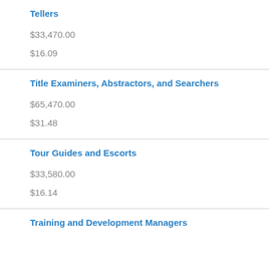Tellers
$33,470.00
$16.09
Title Examiners, Abstractors, and Searchers
$65,470.00
$31.48
Tour Guides and Escorts
$33,580.00
$16.14
Training and Development Managers